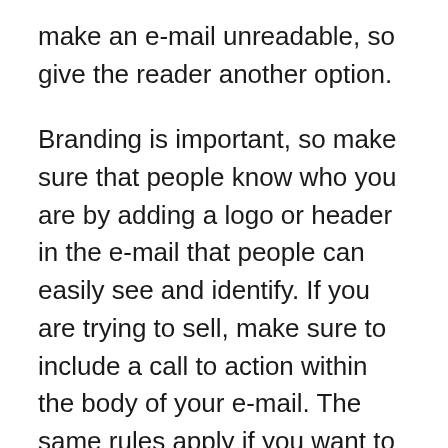make an e-mail unreadable, so give the reader another option.
Branding is important, so make sure that people know who you are by adding a logo or header in the e-mail that people can easily see and identify. If you are trying to sell, make sure to include a call to action within the body of your e-mail. The same rules apply if you want to get information out. The best way to accomplish that is to encourage subscribers to share the information via social media. The goal is to build and maintain your list, so always give subscribers the option to update their information or even unsubscribe if they want to. Always remember, the e-mail